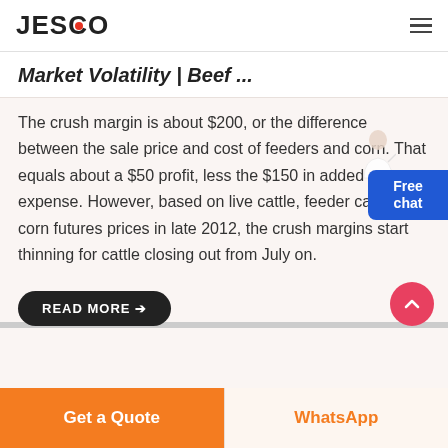JESCO
Market Volatility | Beef ...
The crush margin is about $200, or the difference between the sale price and cost of feeders and corn. That equals about a $50 profit, less the $150 in added expense. However, based on live cattle, feeder cattle and corn futures prices in late 2012, the crush margins start thinning for cattle closing out from July on.
READ MORE →
Get a Quote | WhatsApp